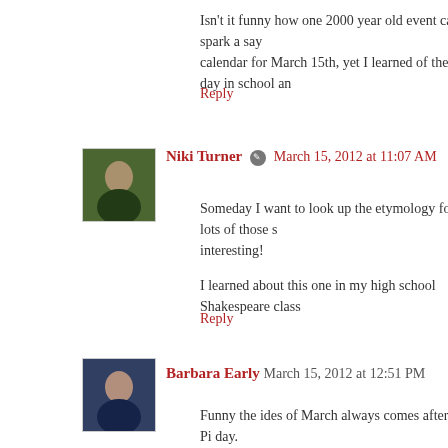Isn't it funny how one 2000 year old event can spark a say... calendar for March 15th, yet I learned of the day in school an...
Reply
Niki Turner  March 15, 2012 at 11:07 AM
Someday I want to look up the etymology for lots of those s... interesting!
I learned about this one in my high school Shakespeare class...
Reply
Barbara Early  March 15, 2012 at 12:51 PM
Funny the ides of March always comes after Pi day.
Thanks for the reminder, Niki. I find it all too easy to respond... my careless words might hurt someone else.
Reply